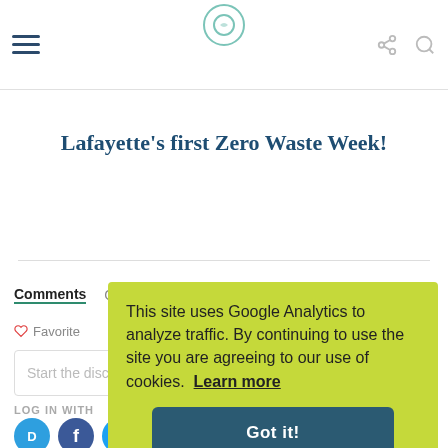Lafayette's first Zero Waste Week!
Lafayette's first Zero Waste Week!
Comments  Community  Privacy Policy  Login
Favorite  Sort by Newest
Start the discussion...
LOG IN WITH
BACK TO TOP
This site uses Google Analytics to analyze traffic. By continuing to use the site you are agreeing to our use of cookies.  Learn more
Got it!